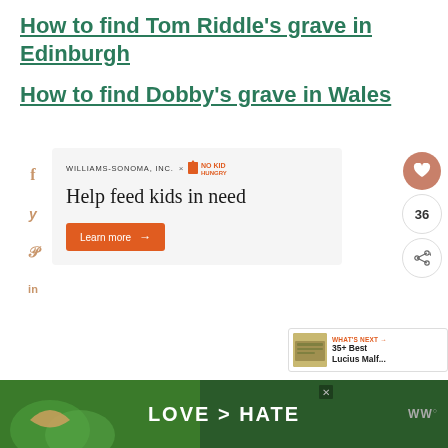How to find Tom Riddle's grave in Edinburgh
How to find Dobby's grave in Wales
[Figure (screenshot): Williams-Sonoma x No Kid Hungry ad card with social sidebar icons (f, y, p, in), headline 'Help feed kids in need', orange Learn more button, heart/share action buttons, and What's Next panel showing '35+ Best Lucius Malf...']
[Figure (screenshot): Bottom banner advertisement with green background showing 'LOVE > HATE' text with hands forming heart shape, close button X, and WW logo badge]